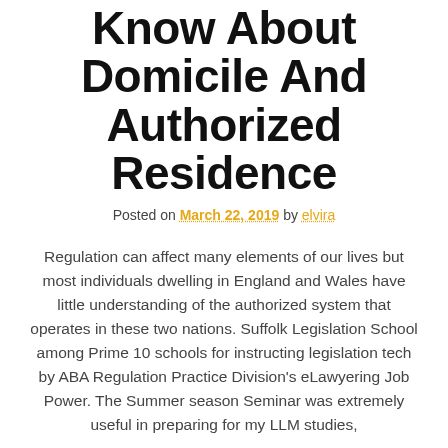Know About Domicile And Authorized Residence
Posted on March 22, 2019 by elvira
Regulation can affect many elements of our lives but most individuals dwelling in England and Wales have little understanding of the authorized system that operates in these two nations. Suffolk Legislation School among Prime 10 schools for instructing legislation tech by ABA Regulation Practice Division's eLawyering Job Power. The Summer season Seminar was extremely useful in preparing for my LLM studies,